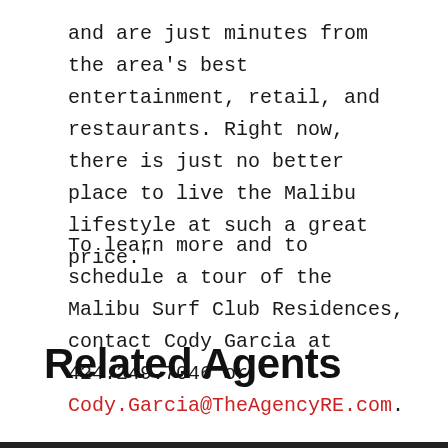and are just minutes from the area's best entertainment, retail, and restaurants. Right now, there is just no better place to live the Malibu lifestyle at such a great price."
To learn more and to schedule a tour of the Malibu Surf Club Residences, contact Cody Garcia at 424.249.7046 or Cody.Garcia@TheAgencyRE.com.
Related Agents